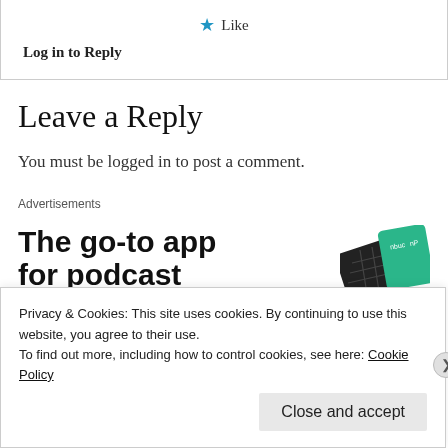Like
Log in to Reply
Leave a Reply
You must be logged in to post a comment.
Advertisements
[Figure (illustration): Advertisement for a podcast app with text 'The go-to app for podcast lovers.' and a phone/card graphic]
Privacy & Cookies: This site uses cookies. By continuing to use this website, you agree to their use.
To find out more, including how to control cookies, see here: Cookie Policy
Close and accept